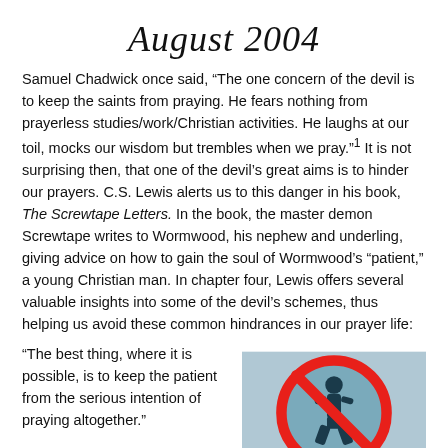August 2004
Samuel Chadwick once said, “The one concern of the devil is to keep the saints from praying. He fears nothing from prayerless studies/work/Christian activities. He laughs at our toil, mocks our wisdom but trembles when we pray.”¹ It is not surprising then, that one of the devil’s great aims is to hinder our prayers. C.S. Lewis alerts us to this danger in his book, The Screwtape Letters. In the book, the master demon Screwtape writes to Wormwood, his nephew and underling, giving advice on how to gain the soul of Wormwood’s “patient,” a young Christian man. In chapter four, Lewis offers several valuable insights into some of the devil’s schemes, thus helping us avoid these common hindrances in our prayer life:
“The best thing, where it is possible, is to keep the patient from the serious intention of praying altogether.”
[Figure (illustration): A red circle-and-slash prohibition symbol (no sign) over a silhouette of a person kneeling in prayer, on a blue-grey background.]